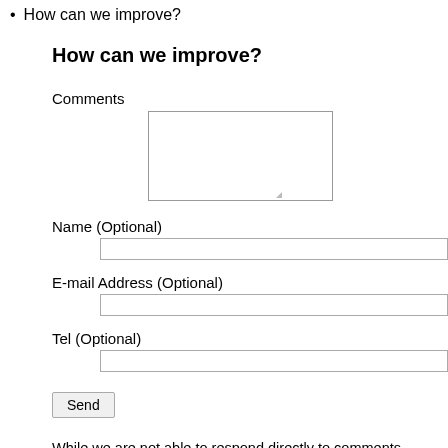How can we improve?
How can we improve?
Comments
Name (Optional)
E-mail Address (Optional)
Tel (Optional)
Send
While we are not able to respond directly to comments submitted in this form, the information will be reviewed for future improvement.